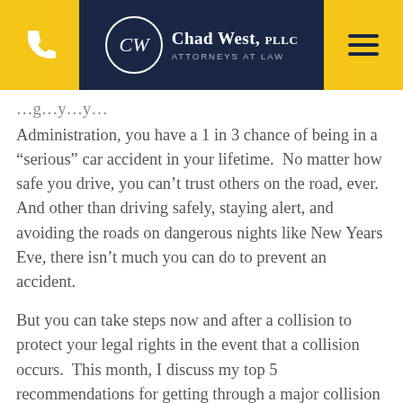Chad West, PLLC — Attorneys at Law
Administration, you have a 1 in 3 chance of being in a “serious” car accident in your lifetime.  No matter how safe you drive, you can’t trust others on the road, ever.  And other than driving safely, staying alert, and avoiding the roads on dangerous nights like New Years Eve, there isn’t much you can do to prevent an accident.
But you can take steps now and after a collision to protect your legal rights in the event that a collision occurs.  This month, I discuss my top 5 recommendations for getting through a major collision as smoothly as possible.